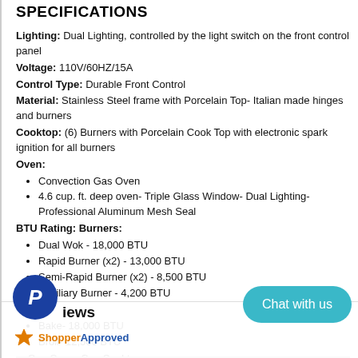SPECIFICATIONS
Lighting: Dual Lighting, controlled by the light switch on the front control panel
Voltage: 110V/60HZ/15A
Control Type: Durable Front Control
Material: Stainless Steel frame with Porcelain Top- Italian made hinges and burners
Cooktop: (6) Burners with Porcelain Cook Top with electronic spark ignition for all burners
Oven:
Convection Gas Oven
4.6 cup. ft. deep oven- Triple Glass Window- Dual Lighting- Professional Aluminum Mesh Seal
BTU Rating: Burners:
Dual Wok - 18,000 BTU
Rapid Burner (x2) - 13,000 BTU
Semi-Rapid Burner (x2) - 8,500 BTU
Auxiliary Burner - 4,200 BTU
Oven:
Bake- 18,000 BTU
Broil- 12,500 BTU
e: Gas Oven- Gas Cooktop